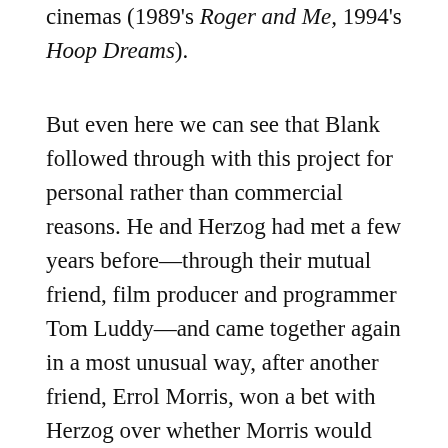cinemas (1989's Roger and Me, 1994's Hoop Dreams).
But even here we can see that Blank followed through with this project for personal rather than commercial reasons. He and Herzog had met a few years before—through their mutual friend, film producer and programmer Tom Luddy—and came together again in a most unusual way, after another friend, Errol Morris, won a bet with Herzog over whether Morris would complete a film about the pet cemetery business in America. Herzog said he would eat his own shoe in such an eventuality. Well, Morris did make Gates of Heaven, and in 1980 Blank filmed Herzog living up to his promise. Werner Herzog Eats His